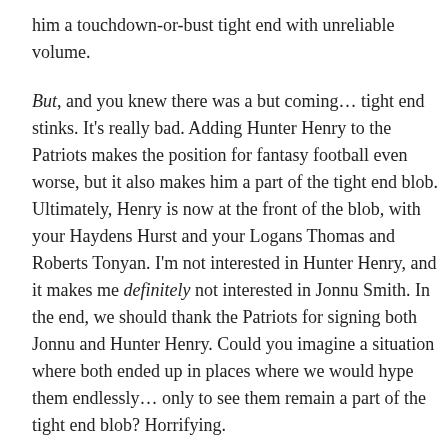him a touchdown-or-bust tight end with unreliable volume.
But, and you knew there was a but coming... tight end stinks. It's really bad. Adding Hunter Henry to the Patriots makes the position for fantasy football even worse, but it also makes him a part of the tight end blob. Ultimately, Henry is now at the front of the blob, with your Haydens Hurst and your Logans Thomas and Roberts Tonyan. I'm not interested in Hunter Henry, and it makes me definitely not interested in Jonnu Smith. In the end, we should thank the Patriots for signing both Jonnu and Hunter Henry. Could you imagine a situation where both ended up in places where we would hype them endlessly... only to see them remain a part of the tight end blob? Horrifying.
Ultimately, Cam Newton is not Tom Brady. Moreover, Hunter Henry and Jonnu Smith are not Rob Gronkowski